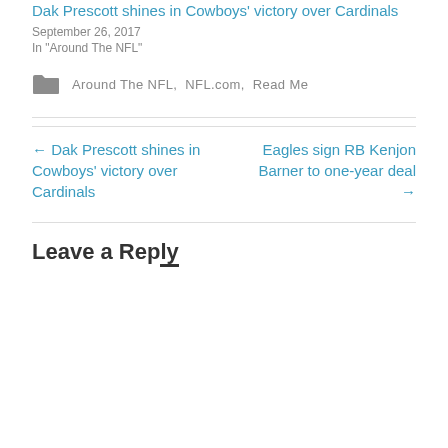Dak Prescott shines in Cowboys' victory over Cardinals
September 26, 2017
In "Around The NFL"
Around The NFL, NFL.com, Read Me
← Dak Prescott shines in Cowboys' victory over Cardinals
Eagles sign RB Kenjon Barner to one-year deal →
Leave a Reply